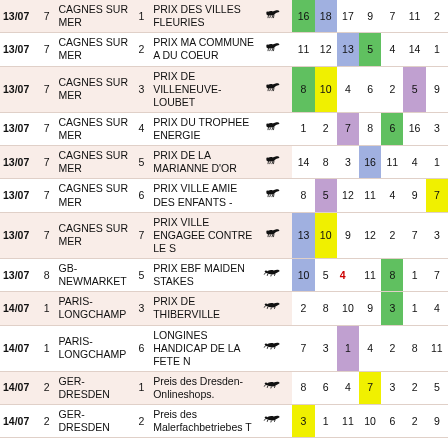| Date |  | Venue | R | Race | Icon |  |  |  |  |  |  |  |
| --- | --- | --- | --- | --- | --- | --- | --- | --- | --- | --- | --- | --- |
| 13/07 | 7 | CAGNES SUR MER | 1 | PRIX DES VILLES FLEURIES | 🐴 | 16 | 18 | 17 | 9 | 7 | 11 | 2 |
| 13/07 | 7 | CAGNES SUR MER | 2 | PRIX MA COMMUNE A DU COEUR | 🐴 | 11 | 12 | 13 | 5 | 4 | 14 | 1 |
| 13/07 | 7 | CAGNES SUR MER | 3 | PRIX DE VILLENEUVE-LOUBET | 🐴 | 8 | 10 | 4 | 6 | 2 | 5 | 9 |
| 13/07 | 7 | CAGNES SUR MER | 4 | PRIX DU TROPHEE ENERGIE | 🐴 | 1 | 2 | 7 | 8 | 6 | 16 | 3 |
| 13/07 | 7 | CAGNES SUR MER | 5 | PRIX DE LA MARIANNE D'OR | 🐴 | 14 | 8 | 3 | 16 | 11 | 4 | 1 |
| 13/07 | 7 | CAGNES SUR MER | 6 | PRIX VILLE AMIE DES ENFANTS - | 🐴 | 8 | 5 | 12 | 11 | 4 | 9 | 7 |
| 13/07 | 7 | CAGNES SUR MER | 7 | PRIX VILLE ENGAGEE CONTRE LE S | 🐴 | 13 | 10 | 9 | 12 | 2 | 7 | 3 |
| 13/07 | 8 | GB-NEWMARKET | 5 | PRIX EBF MAIDEN STAKES | 🐎 | 10 | 5 | 4 | 11 | 8 | 1 | 7 |
| 14/07 | 1 | PARIS-LONGCHAMP | 3 | PRIX DE THIBERVILLE | 🐎 | 2 | 8 | 10 | 9 | 3 | 1 | 4 |
| 14/07 | 1 | PARIS-LONGCHAMP | 6 | LONGINES HANDICAP DE LA FETE N | 🐎 | 7 | 3 | 1 | 4 | 2 | 8 | 11 |
| 14/07 | 2 | GER-DRESDEN | 1 | Preis des Dresden-Onlineshops. | 🐎 | 8 | 6 | 4 | 7 | 3 | 2 | 5 |
| 14/07 | 2 | GER-DRESDEN | 2 | Preis des Malerfachbetriebes T | 🐎 | 3 | 1 | 11 | 10 | 6 | 2 | 9 |